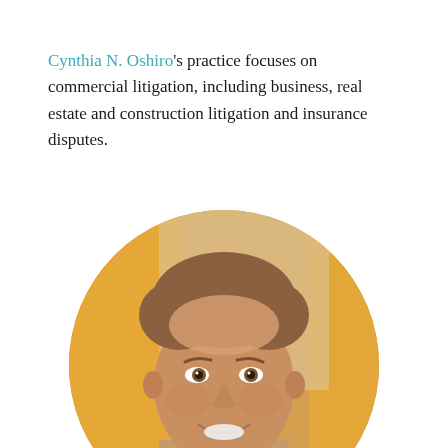Cynthia N. Oshiro's practice focuses on commercial litigation, including business, real estate and construction litigation and insurance disputes.
[Figure (photo): Circular cropped professional headshot of a smiling man with short brown hair, photographed against a warm golden/amber blurred background.]